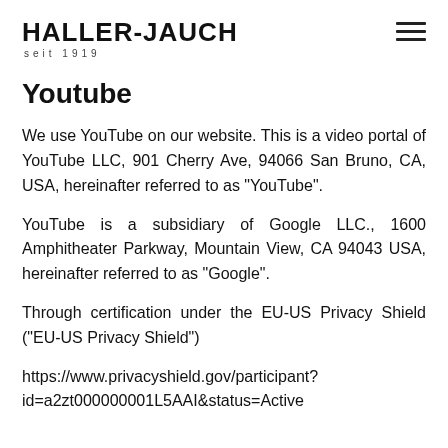HALLER-JAUCH seit 1919
Youtube
We use YouTube on our website. This is a video portal of YouTube LLC, 901 Cherry Ave, 94066 San Bruno, CA, USA, hereinafter referred to as "YouTube".
YouTube is a subsidiary of Google LLC., 1600 Amphitheater Parkway, Mountain View, CA 94043 USA, hereinafter referred to as "Google".
Through certification under the EU-US Privacy Shield ("EU-US Privacy Shield")
https://www.privacyshield.gov/participant?id=a2zt000000001L5AAI&status=Active